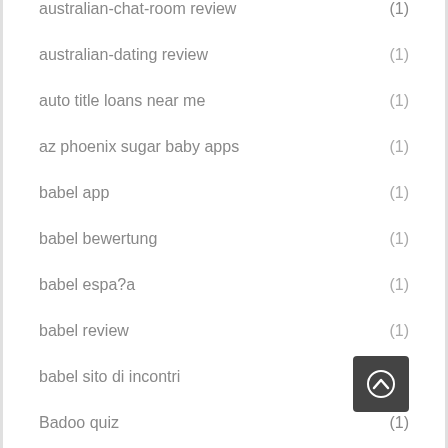australian-chat-room review (1)
australian-dating review (1)
auto title loans near me (1)
az phoenix sugar baby apps (1)
babel app (1)
babel bewertung (1)
babel espa?a (1)
babel review (1)
babel sito di incontri
Badoo quiz (1)